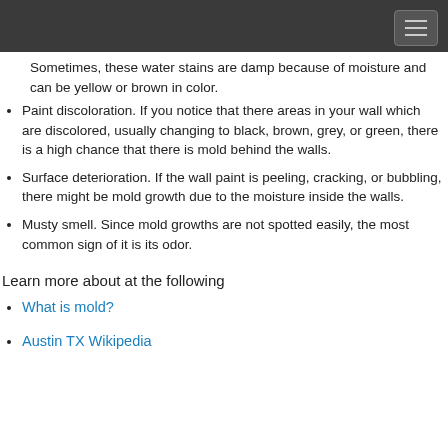Sometimes, these water stains are damp because of moisture and can be yellow or brown in color.
Paint discoloration. If you notice that there areas in your wall which are discolored, usually changing to black, brown, grey, or green, there is a high chance that there is mold behind the walls.
Surface deterioration. If the wall paint is peeling, cracking, or bubbling, there might be mold growth due to the moisture inside the walls.
Musty smell. Since mold growths are not spotted easily, the most common sign of it is its odor.
Learn more about at the following
What is mold?
Austin TX Wikipedia